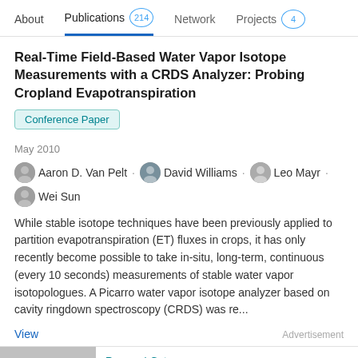About  Publications 214  Network  Projects 4
Real-Time Field-Based Water Vapor Isotope Measurements with a CRDS Analyzer: Probing Cropland Evapotranspiration
Conference Paper
May 2010
Aaron D. Van Pelt · David Williams · Leo Mayr · Wei Sun
While stable isotope techniques have been previously applied to partition evapotranspiration (ET) fluxes in crops, it has only recently become possible to take in-situ, long-term, continuous (every 10 seconds) measurements of stable water vapor isotopologues. A Picarro water vapor isotope analyzer based on cavity ringdown spectroscopy (CRDS) was re...
View
Advertisement
ResearchGate
Searching for qualified biologists?